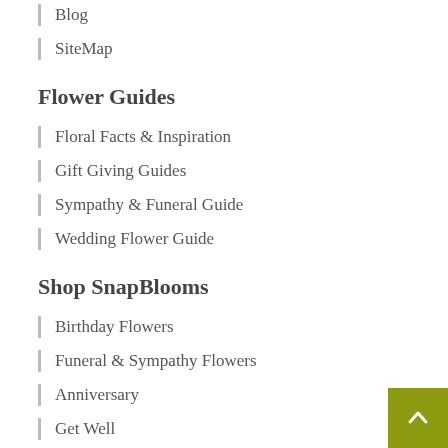Blog
SiteMap
Flower Guides
Floral Facts & Inspiration
Gift Giving Guides
Sympathy & Funeral Guide
Wedding Flower Guide
Shop SnapBlooms
Birthday Flowers
Funeral & Sympathy Flowers
Anniversary
Get Well
Shop By City